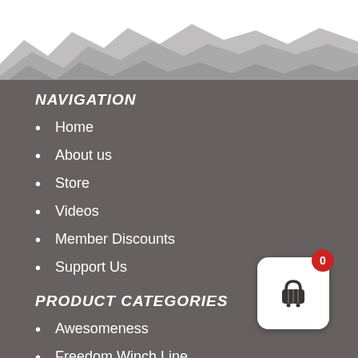[Figure (illustration): Layered mountain silhouette graphic in shades of gray, white, and dark gray creating a landscape banner]
NAVIGATION
Home
About us
Store
Videos
Member Discounts
Support Us
PRODUCT CATEGORIES
Awesomeness
Freedom Winch Line
[Figure (illustration): Shopping cart widget with white rounded rectangle background, shopping basket icon in dark gray, and red badge showing 0]